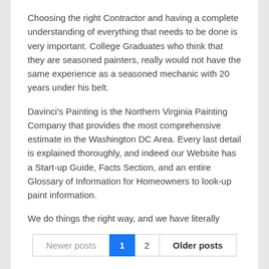Choosing the right Contractor and having a complete understanding of everything that needs to be done is very important. College Graduates who think that they are seasoned painters, really would not have the same experience as a seasoned mechanic with 20 years under his belt.
Davinci's Painting is the Northern Virginia Painting Company that provides the most comprehensive estimate in the Washington DC Area. Every last detail is explained thoroughly, and indeed our Website has a Start-up Guide, Facts Section, and an entire Glossary of Information for Homeowners to look-up paint information.
We do things the right way, and we have literally hundreds of references who would agree.
Please email or call us today for a free no-obligation painting estimate.
[Figure (other): Facebook Like button showing thumbs up icon and 'Like 0' text on blue background]
Newer posts  1  2  Older posts